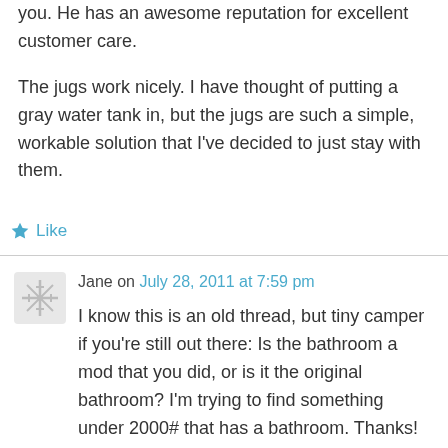you. He has an awesome reputation for excellent customer care.
The jugs work nicely. I have thought of putting a gray water tank in, but the jugs are such a simple, workable solution that I've decided to just stay with them.
★ Like
Jane on July 28, 2011 at 7:59 pm
I know this is an old thread, but tiny camper if you're still out there: Is the bathroom a mod that you did, or is it the original bathroom? I'm trying to find something under 2000# that has a bathroom. Thanks!